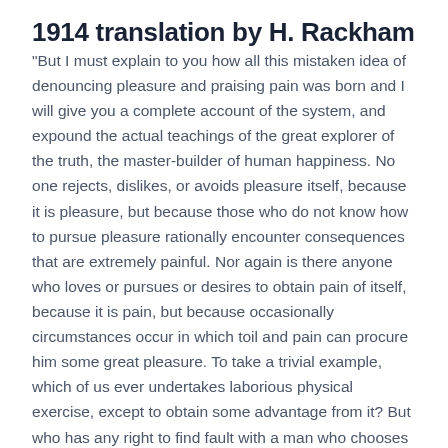1914 translation by H. Rackham
"But I must explain to you how all this mistaken idea of denouncing pleasure and praising pain was born and I will give you a complete account of the system, and expound the actual teachings of the great explorer of the truth, the master-builder of human happiness. No one rejects, dislikes, or avoids pleasure itself, because it is pleasure, but because those who do not know how to pursue pleasure rationally encounter consequences that are extremely painful. Nor again is there anyone who loves or pursues or desires to obtain pain of itself, because it is pain, but because occasionally circumstances occur in which toil and pain can procure him some great pleasure. To take a trivial example, which of us ever undertakes laborious physical exercise, except to obtain some advantage from it? But who has any right to find fault with a man who chooses to enjoy a